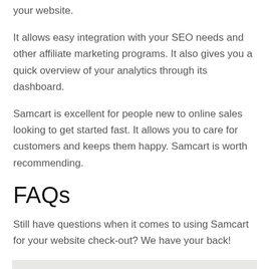your website.
It allows easy integration with your SEO needs and other affiliate marketing programs. It also gives you a quick overview of your analytics through its dashboard.
Samcart is excellent for people new to online sales looking to get started fast. It allows you to care for customers and keeps them happy. Samcart is worth recommending.
FAQs
Still have questions when it comes to using Samcart for your website check-out? We have your back!
[Figure (photo): Photo of a white Apple keyboard on a light gray surface, viewed from slightly above]